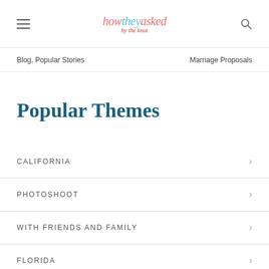howtheyasked by the knot
Blog, Popular Stories
Marriage Proposals
Popular Themes
CALIFORNIA
PHOTOSHOOT
WITH FRIENDS AND FAMILY
FLORIDA